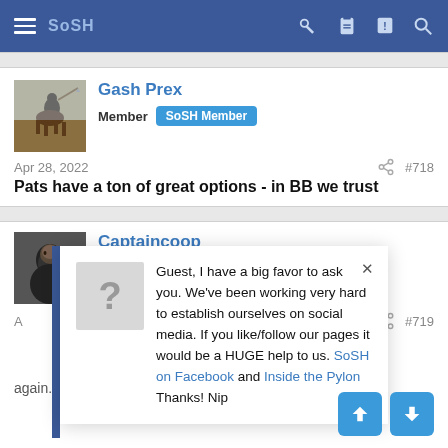SoSH navigation bar
Gash Prex
Member SoSH Member
Apr 28, 2022   #718
Pats have a ton of great options - in BB we trust
Captaincoop
Member SoSH Member
#719
Guest, I have a big favor to ask you. We've been working very hard to establish ourselves on social media. If you like/follow our pages it would be a HUGE help to us. SoSH on Facebook and Inside the Pylon Thanks! Nip